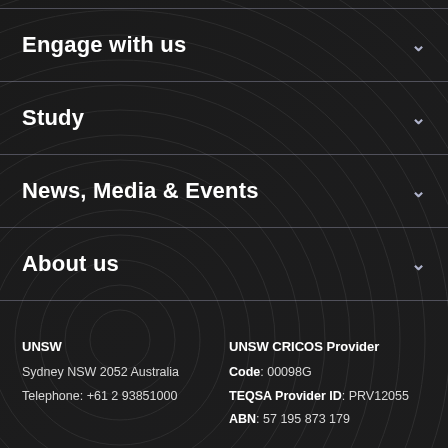Engage with us
Study
News, Media & Events
About us
UNSW
Sydney NSW 2052 Australia
Telephone: +61 2 93851000
UNSW CRICOS Provider
Code: 00098G
TEQSA Provider ID: PRV12055
ABN: 57 195 873 179